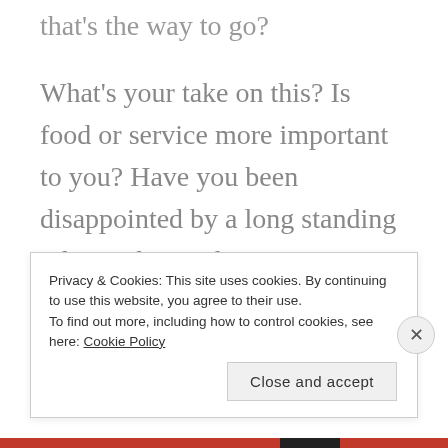that's the way to go?
What's your take on this?  Is food or service more important to you? Have you been disappointed by a long standing relationship with a restaurant?
– SS
Advertisements
Privacy & Cookies: This site uses cookies. By continuing to use this website, you agree to their use.
To find out more, including how to control cookies, see here: Cookie Policy
Close and accept